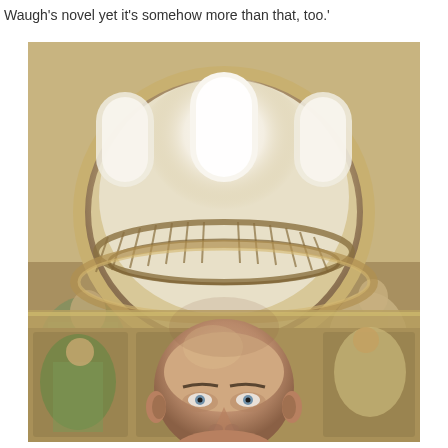Waugh's novel yet it's somehow more than that, too.'
[Figure (photo): A bald man takes a selfie looking up into an ornate baroque dome interior with frescos, arched windows, a circular oculus, and decorative balcony. The dome features painted murals of angelic figures and classical ornamental details.]